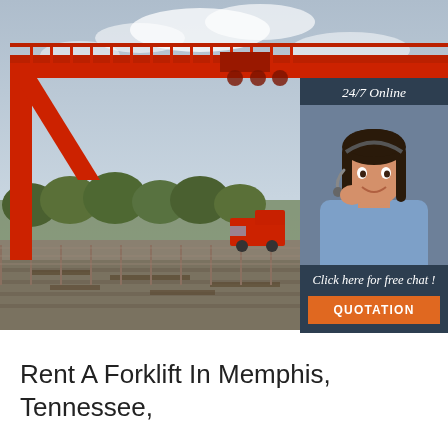[Figure (photo): Outdoor industrial scene featuring a large red gantry crane/overhead bridge structure spanning across railway tracks at a freight yard. Trees visible in background under a blue-grey sky with clouds. A red truck is visible in the lower middle distance.]
[Figure (photo): Customer service representative overlay: a smiling young woman with dark hair wearing a headset and light blue shirt, shown in portrait against a dark blue-grey background panel. Panel includes '24/7 Online' header text, 'Click here for free chat!' text, and an orange 'QUOTATION' button.]
Rent A Forklift In Memphis, Tennessee,